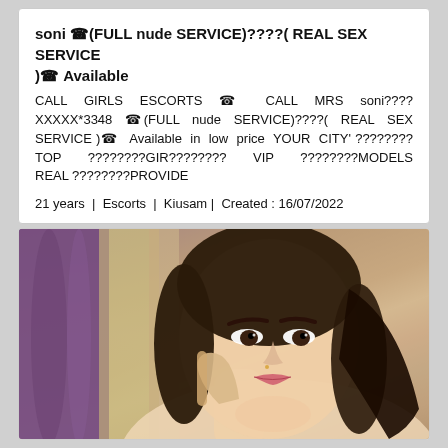soni 🤙(FULL nude SERVICE)????( REAL SEX SERVICE )🤙 Available
CALL GIRLS ESCORTS 🤙  CALL MRS soni???? XXXXX*3348 🤙(FULL nude SERVICE)????( REAL SEX SERVICE )🤙  Available in low price YOUR CITY' ????????TOP ????????GIR???????? VIP ????????MODELS REAL ????????PROVIDE
21 years | Escorts | Kiusam | Created : 16/07/2022
[Figure (photo): Portrait photo of a young woman with dark hair, looking at camera, hand raised near face, colorful background with curtain]